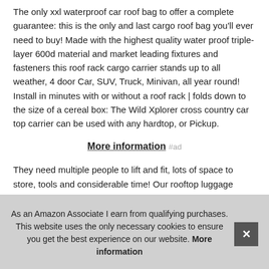The only xxl waterproof car roof bag to offer a complete guarantee: this is the only and last cargo roof bag you'll ever need to buy! Made with the highest quality water proof triple-layer 600d material and market leading fixtures and fasteners this roof rack cargo carrier stands up to all weather, 4 door Car, SUV, Truck, Minivan, all year round! Install in minutes with or without a roof rack | folds down to the size of a cereal box: The Wild Xplorer cross country car top carrier can be used with any hardtop, or Pickup.
More information #ad
They need multiple people to lift and fit, lots of space to store, tools and considerable time! Our rooftop luggage carriers are light...
As an Amazon Associate I earn from qualifying purchases. This website uses the only necessary cookies to ensure you get the best experience on our website. More information